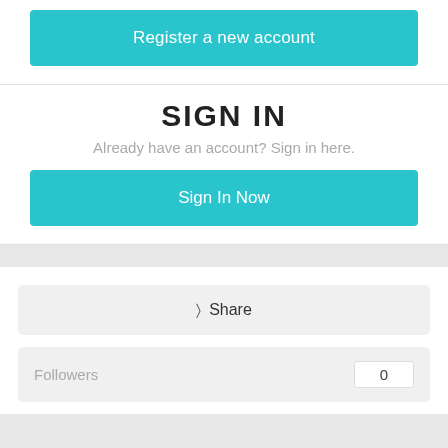Register a new account
SIGN IN
Already have an account? Sign in here.
Sign In Now
Share
Followers  0
Go to topic listing